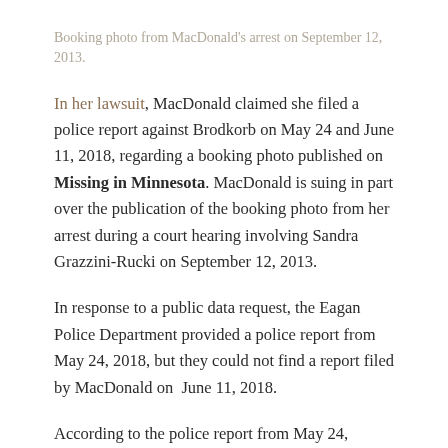Booking photo from MacDonald's arrest on September 12, 2013.
In her lawsuit, MacDonald claimed she filed a police report against Brodkorb on May 24 and June 11, 2018, regarding a booking photo published on Missing in Minnesota. MacDonald is suing in part over the publication of the booking photo from her arrest during a court hearing involving Sandra Grazzini-Rucki on September 12, 2013.
In response to a public data request, the Eagan Police Department provided a police report from May 24, 2018, but they could not find a report filed by MacDonald on  June 11, 2018.
According to the police report from May 24,